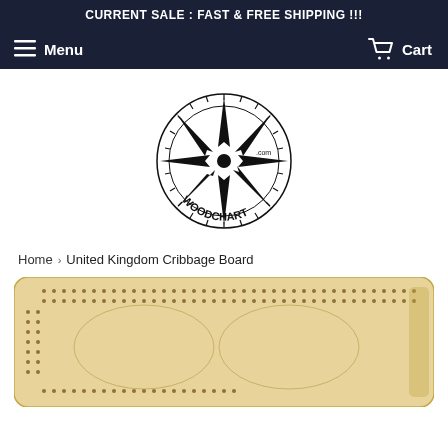CURRENT SALE : FAST & FREE SHIPPING !!!
Menu  Cart
[Figure (logo): WoodChart.com compass rose logo with star and circular text]
Home › United Kingdom Cribbage Board
[Figure (photo): United Kingdom Cribbage Board product photo — wooden board with map engraving and peg holes]